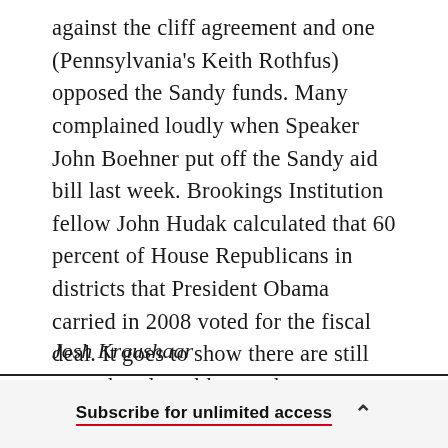against the cliff agreement and one (Pennsylvania's Keith Rothfus) opposed the Sandy funds. Many complained loudly when Speaker John Boehner put off the Sandy aid bill last week. Brookings Institution fellow John Hudak calculated that 60 percent of House Republicans in districts that President Obama carried in 2008 voted for the fiscal deal. It goes to show there are still enough vulnerable members — more than the party's House majority of 17 — to cost Republicans control of the chamber.
Josh Kraushaar
Subscribe for unlimited access